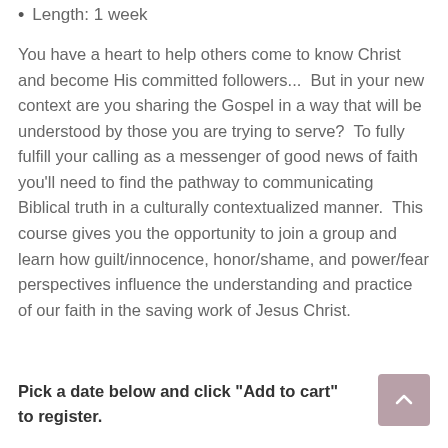Length: 1 week
You have a heart to help others come to know Christ and become His committed followers...  But in your new context are you sharing the Gospel in a way that will be understood by those you are trying to serve?  To fully fulfill your calling as a messenger of good news of faith you'll need to find the pathway to communicating Biblical truth in a culturally contextualized manner.  This course gives you the opportunity to join a group and learn how guilt/innocence, honor/shame, and power/fear perspectives influence the understanding and practice of our faith in the saving work of Jesus Christ.
Pick a date below and click “Add to cart” to register.